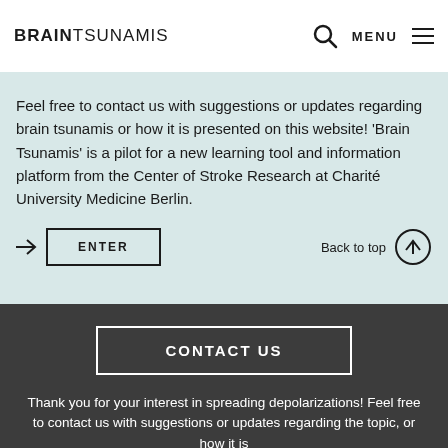BRAINTSUNAMIS
Feel free to contact us with suggestions or updates regarding brain tsunamis or how it is presented on this website! ‘Brain Tsunamis’ is a pilot for a new learning tool and information platform from the Center of Stroke Research at Charité University Medicine Berlin.
ENTER
Back to top
CONTACT US
Thank you for your interest in spreading depolarizations! Feel free to contact us with suggestions or updates regarding the topic, or how it is